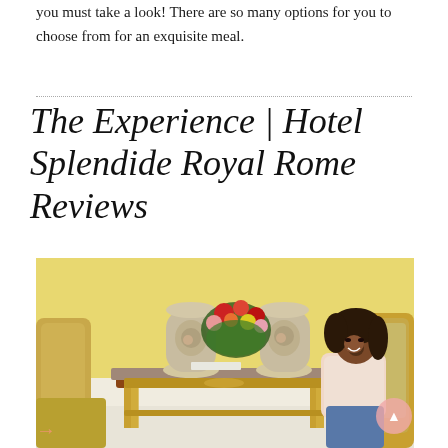you must take a look! There are so many options for you to choose from for an exquisite meal.
The Experience | Hotel Splendide Royal Rome Reviews
[Figure (photo): Interior of Hotel Splendide Royal Rome showing ornate gilded baroque furniture, decorative ceramic vases with floral arrangement on a marble-topped console table, yellow wallpaper, and a smiling woman with curly hair seated in a gilded chair wearing a light pink blouse and jeans.]